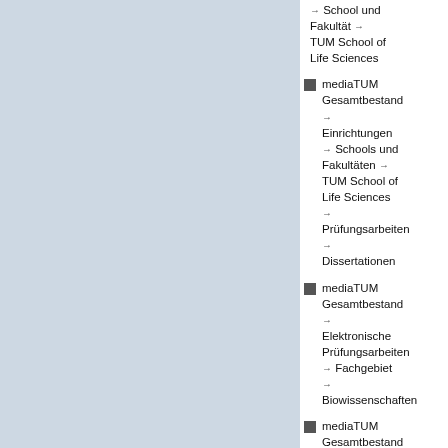[Figure (other): Light blue/grey panel on the left side of the page, approximately 2/3 of the page width]
→ School und Fakultät → TUM School of Life Sciences
mediaTUM Gesamtbestand → Einrichtungen → Schools und Fakultäten → TUM School of Life Sciences → Prüfungsarbeiten → Dissertationen
mediaTUM Gesamtbestand → Elektronische Prüfungsarbeiten → Fachgebiet → Biowissenschaften
mediaTUM Gesamtbestand → Elektronische Prüfungsarbeiten → Fachgebiet → Umweltschutz